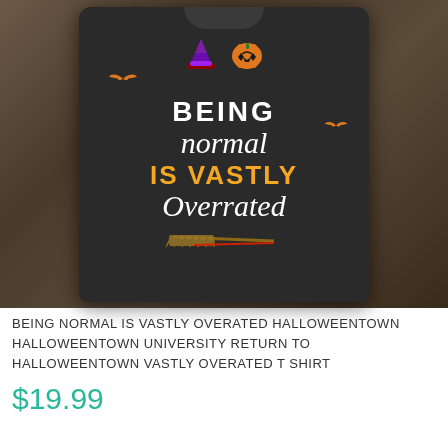[Figure (photo): A dark charcoal Halloween t-shirt laid flat on a wooden surface. The shirt reads 'BEING normal IS VASTLY Overrated' with Halloween graphics including a jack-o-lantern, witch hat, bats, and a broom.]
BEING NORMAL IS VASTLY OVERATED HALLOWEENTOWN HALLOWEENTOWN UNIVERSITY RETURN TO HALLOWEENTOWN VASTLY OVERATED T SHIRT
$19.99